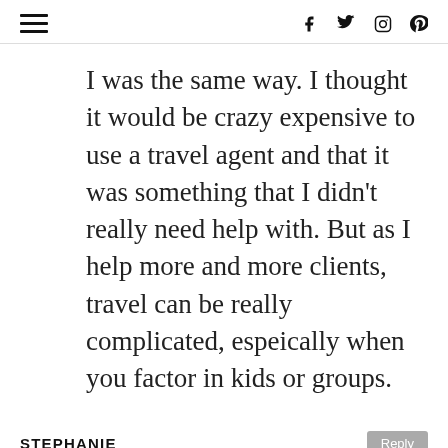≡  f  Twitter  Instagram  Pinterest
I was the same way. I thought it would be crazy expensive to use a travel agent and that it was something that I didn't really need help with. But as I help more and more clients, travel can be really complicated, espeically when you factor in kids or groups.
STEPHANIE
03/09/2021 at 6:07 pm
Great tips! I had a two week life-list trip to Bali planned June 2020. I WISH I had